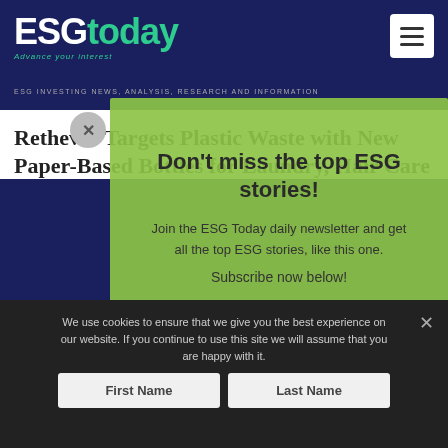ESGtoday — Advance your interest — ESG INVESTING NEWS, ANALYSIS, RESEARCH AND INFORMATION
Rethever Targets Plastic Waste with New Paper-Based Bottles for Laundry, Hair Care
Don't miss the top ESG stories!
Join the ESG Today daily newsletter and get all the top ESG stories, like this one. Subscribe now below!
We use cookies to ensure that we give you the best experience on our website. If you continue to use this site we will assume that you are happy with it.
First Name
Last Name